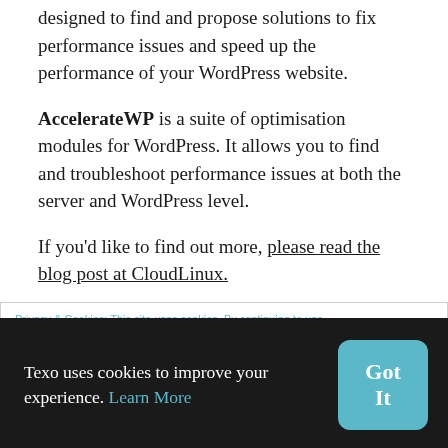designed to find and propose solutions to fix performance issues and speed up the performance of your WordPress website.
AccelerateWP is a suite of optimisation modules for WordPress. It allows you to find and troubleshoot performance issues at both the server and WordPress level.
If you'd like to find out more, please read the blog post at CloudLinux.
Privacy & Cookies: This site uses cookies. By continuing to use this website, you agree to their use.
Texo uses cookies to improve your experience. Learn More
Got It